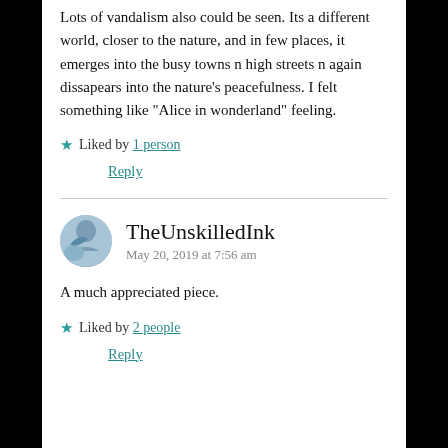Lots of vandalism also could be seen. Its a different world, closer to the nature, and in few places, it emerges into the busy towns n high streets n again dissapears into the nature's peacefulness. I felt something like “Alice in wonderland” feeling.
★ Liked by 1 person
Reply
TheUnskilledInk
May 20, 2019 at 7:56 am
A much appreciated piece.
★ Liked by 2 people
Reply